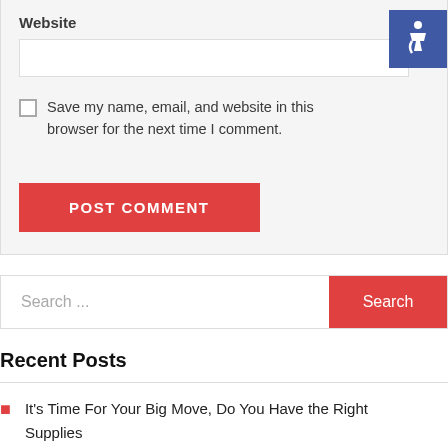Website
Save my name, email, and website in this browser for the next time I comment.
POST COMMENT
Search ...
Search
Recent Posts
It's Time For Your Big Move, Do You Have the Right Supplies